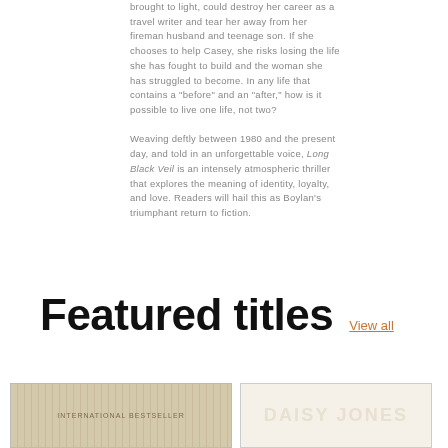brought to light, could destroy her career as a travel writer and tear her away from her fireman husband and teenage son. If she chooses to help Casey, she risks losing the life she has fought to build and the woman she has struggled to become. In any life that contains a "before" and an "after," how is it possible to live one life, not two?

Weaving deftly between 1980 and the present day, and told in an unforgettable voice, Long Black Veil is an intensely atmospheric thriller that explores the meaning of identity, loyalty, and love. Readers will hail this as Boylan's triumphant return to fiction.
Featured titles
View all
[Figure (illustration): Two book covers partially visible at the bottom of the page. Left cover has a beige/tan textured background with small repeated linear pattern. Right cover shows partial large text 'DAISY JONES' in large decorative white/cream letters on a light background.]